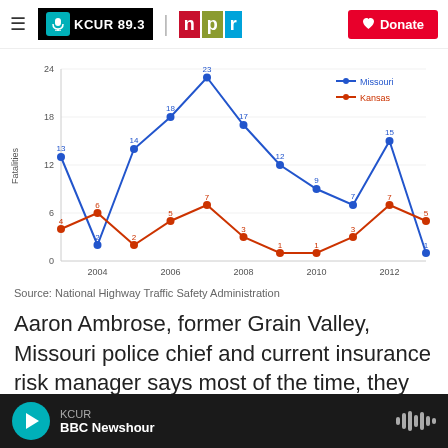[Figure (screenshot): KCUR 89.3 and NPR logos with Donate button in header navigation bar]
[Figure (line-chart): Fatalities by Year]
Source: National Highway Traffic Safety Administration
Aaron Ambrose, former Grain Valley, Missouri police chief and current insurance risk manager says most of the time, they aren't. But there are
[Figure (screenshot): KCUR BBC Newshour audio player bar at bottom of page]